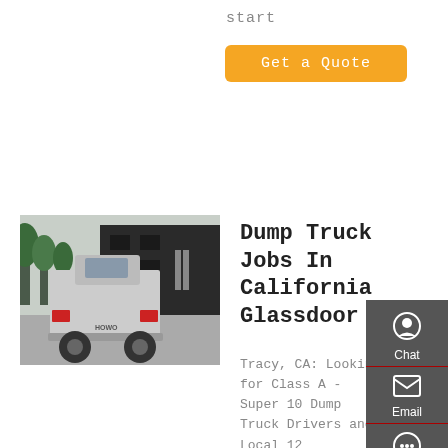start
Get a Quote
[Figure (photo): Rear view of a dump truck/semi-truck in an industrial yard with trees in the background]
Dump Truck Jobs In California Glassdoor
Tracy, CA: Looking for Class A - Super 10 Dump Truck Drivers and Local 12 Operators. JK Mendrin Backhoe Services, Inc. Los Angeles, CA: Truck Driver for Roll-off: Pro Clean Up, Inc. Fresno,